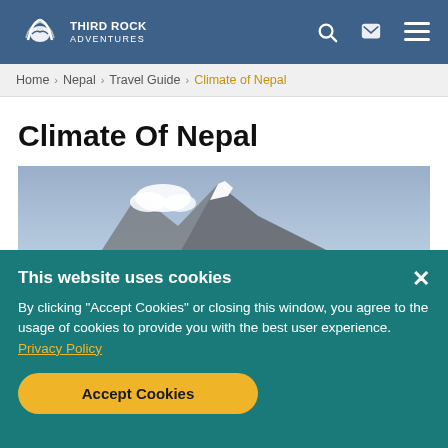THIRD ROCK ADVENTURES
Home > Nepal > Travel Guide > Climate of Nepal
Climate Of Nepal
[Figure (photo): Snow-capped mountain peak with hazy sky and cloud]
This website uses cookies
By clicking "Accept Cookies" or closing this window, you agree to the usage of cookies to provide you with the best user experience. Privacy Policy
Accept Cookies